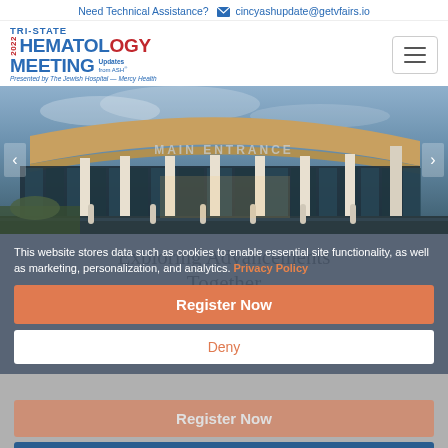Need Technical Assistance? cincyashupdate@getvfairs.io
[Figure (logo): TRI-STATE 2022 HEMATOLOGY MEETING Updates from ASH - Presented by The Jewish Hospital - Mercy Health logo]
[Figure (photo): Exterior photo of a modern building main entrance at dusk with illuminated columns and a curved canopy]
Exploring Advancements Together
This website stores data such as cookies to enable essential site functionality, as well as marketing, personalization, and analytics. Privacy Policy
Register Now
Deny
Access Meeting